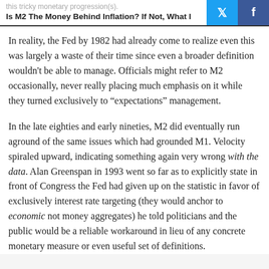this tricky monetary progression(s).
Is M2 The Money Behind Inflation? If Not, What I
In reality, the Fed by 1982 had already come to realize even this was largely a waste of their time since even a broader definition wouldn't be able to manage. Officials might refer to M2 occasionally, never really placing much emphasis on it while they turned exclusively to “expectations” management.
In the late eighties and early nineties, M2 did eventually run aground of the same issues which had grounded M1. Velocity spiraled upward, indicating something again very wrong with the data. Alan Greenspan in 1993 went so far as to explicitly state in front of Congress the Fed had given up on the statistic in favor of exclusively interest rate targeting (they would anchor to economic not money aggregates) he told politicians and the public would be a reliable workaround in lieu of any concrete monetary measure or even useful set of definitions.